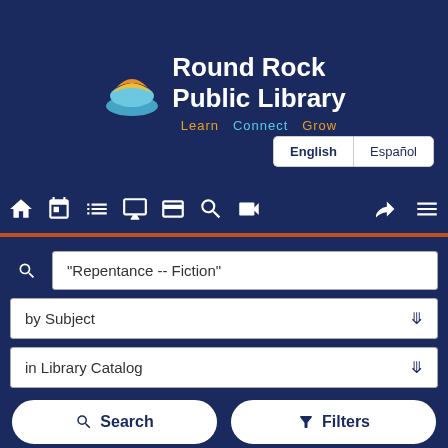[Figure (logo): Round Rock Public Library logo with stylized book/leaf icon in orange, yellow, and blue on navy background]
Round Rock Public Library
Learn  Connect  Grow
English  Español
[Figure (screenshot): Navigation icon bar with home, calendar, list, monitor, money/card, search, video, login, and menu icons]
"Repentance -- Fiction"
by Subject
in Library Catalog
Search  Filters
Browse » Catalog Search » Showing 1 - 3 of 3